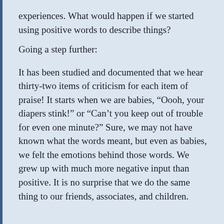experiences. What would happen if we started using positive words to describe things?
Going a step further:
It has been studied and documented that we hear thirty-two items of criticism for each item of praise! It starts when we are babies, “Oooh, your diapers stink!” or “Can’t you keep out of trouble for even one minute?” Sure, we may not have known what the words meant, but even as babies, we felt the emotions behind those words. We grew up with much more negative input than positive. It is no surprise that we do the same thing to our friends, associates, and children.